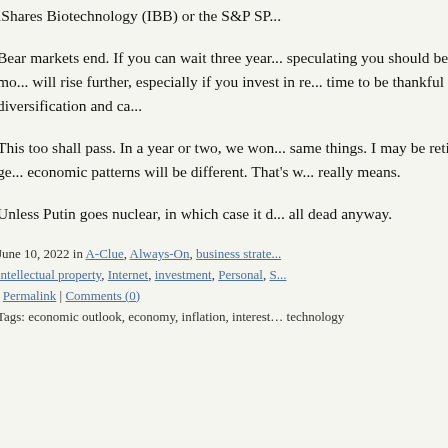iShares Biotechnology (IBB) or the S&P SP...
Bear markets end. If you can wait three years... speculating you should be able to, you'll mo... will rise further, especially if you invest in re... time to be thankful for diversification and ca...
This too shall pass. In a year or two, we won... same things. I may be retired. You may be ge... economic patterns will be different. That's w... really means.
Unless Putin goes nuclear, in which case it d... all dead anyway.
June 10, 2022 in A-Clue, Always-On, business strate... intellectual property, Internet, investment, Personal, S... | Permalink | Comments (0)
Tags: economic outlook, economy, inflation, interest... technology